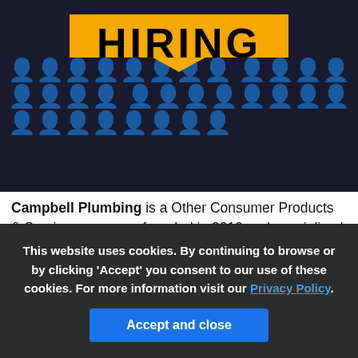[Figure (illustration): Dark background with repeating small person/figure icons in grey. A yellow speech bubble shape in the center contains bold black text 'HIRING'.]
Campbell Plumbing is a Other Consumer Products & Services company founded in 2010 and specialized in the industry of . The headquarters are in Camarillo.
The market type is the way that a company uses to make its commercial transactions. There are companies that operate B2B, B2C or both.
This website uses cookies. By continuing to browse or by clicking 'Accept' you consent to our use of these cookies. For more information visit our Privacy Policy.
Accept and close